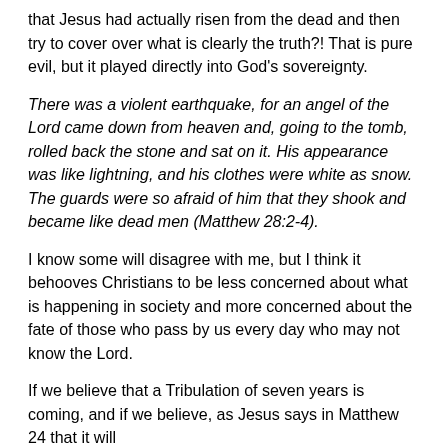that Jesus had actually risen from the dead and then try to cover over what is clearly the truth?! That is pure evil, but it played directly into God's sovereignty.
There was a violent earthquake, for an angel of the Lord came down from heaven and, going to the tomb, rolled back the stone and sat on it. His appearance was like lightning, and his clothes were white as snow. The guards were so afraid of him that they shook and became like dead men (Matthew 28:2-4).
I know some will disagree with me, but I think it behooves Christians to be less concerned about what is happening in society and more concerned about the fate of those who pass by us every day who may not know the Lord.
If we believe that a Tribulation of seven years is coming, and if we believe, as Jesus says in Matthew 24 that it will